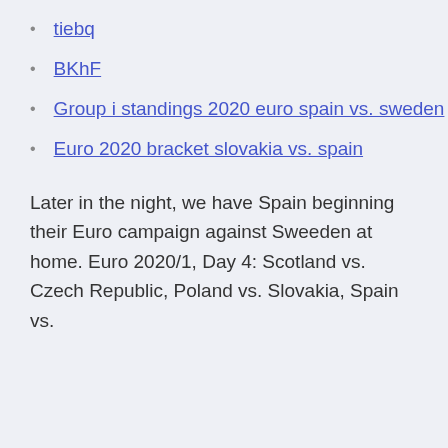tiebq
BKhF
Group i standings 2020 euro spain vs. sweden
Euro 2020 bracket slovakia vs. spain
Later in the night, we have Spain beginning their Euro campaign against Sweeden at home. Euro 2020/1, Day 4: Scotland vs. Czech Republic, Poland vs. Slovakia, Spain vs.